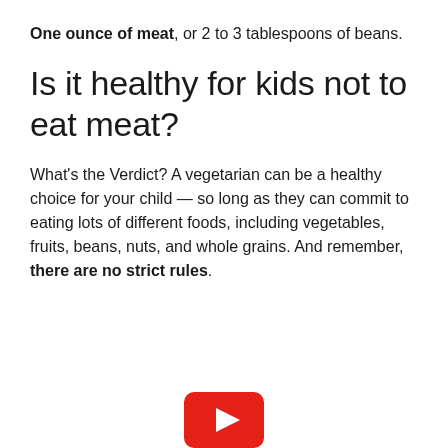One ounce of meat, or 2 to 3 tablespoons of beans.
Is it healthy for kids not to eat meat?
What’s the Verdict? A vegetarian can be a healthy choice for your child — so long as they can commit to eating lots of different foods, including vegetables, fruits, beans, nuts, and whole grains. And remember, there are no strict rules.
[Figure (logo): YouTube play button logo icon, red rounded rectangle with white triangle]